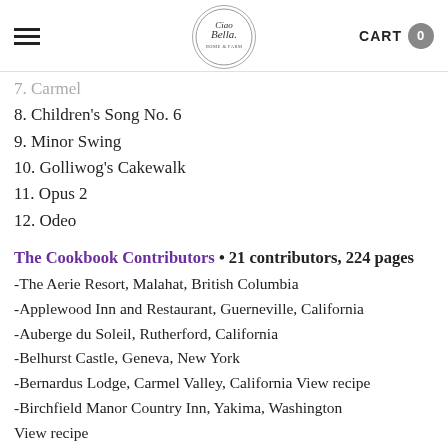Ciao Bella | CART 0
7. Carmel
8. Children's Song No. 6
9. Minor Swing
10. Golliwog's Cakewalk
11. Opus 2
12. Odeo
The Cookbook Contributors • 21 contributors, 224 pages
-The Aerie Resort, Malahat, British Columbia
-Applewood Inn and Restaurant, Guerneville, California
-Auberge du Soleil, Rutherford, California
-Belhurst Castle, Geneva, New York
-Bernardus Lodge, Carmel Valley, California View recipe
-Birchfield Manor Country Inn, Yakima, Washington View recipe
-Clifton, The Country Inn and Estate, Charlottesville,